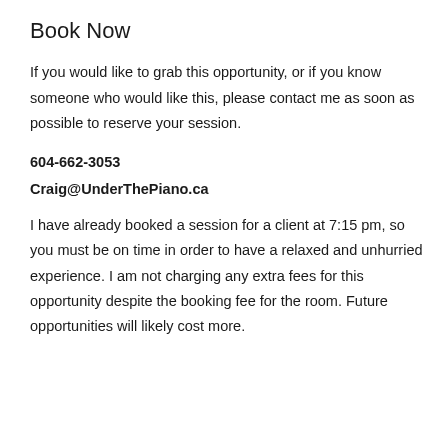Book Now
If you would like to grab this opportunity, or if you know someone who would like this, please contact me as soon as possible to reserve your session.
604-662-3053
Craig@UnderThePiano.ca
I have already booked a session for a client at 7:15 pm, so you must be on time in order to have a relaxed and unhurried experience. I am not charging any extra fees for this opportunity despite the booking fee for the room. Future opportunities will likely cost more.